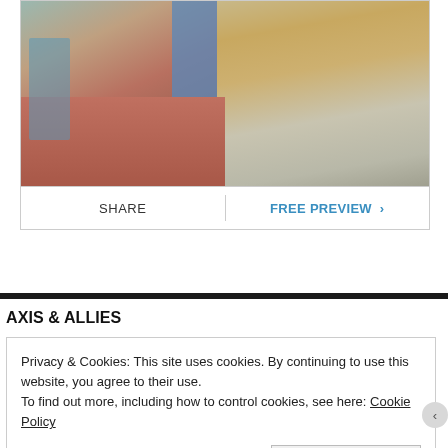[Figure (photo): Photograph showing a flooded or damaged interior/exterior of a building, with reddish-brown floor, blue door, and deteriorated walls visible.]
SHARE | FREE PREVIEW >
AXIS & ALLIES
Privacy & Cookies: This site uses cookies. By continuing to use this website, you agree to their use.
To find out more, including how to control cookies, see here: Cookie Policy
Close and accept